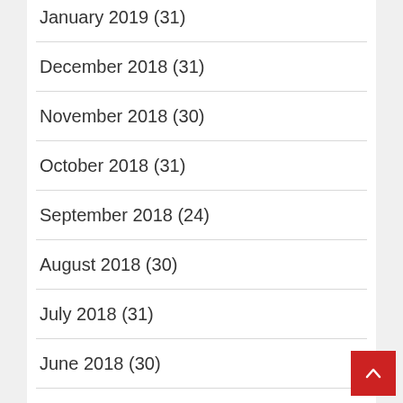January 2019 (31)
December 2018 (31)
November 2018 (30)
October 2018 (31)
September 2018 (24)
August 2018 (30)
July 2018 (31)
June 2018 (30)
May 2018 (31)